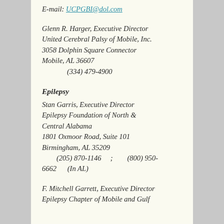E-mail: UCPGBI@dol.com
Glenn R. Harger, Executive Director
United Cerebral Palsy of Mobile, Inc.
3058 Dolphin Square Connector
Mobile, AL 36607
(334) 479-4900
Epilepsy
Stan Garris, Executive Director
Epilepsy Foundation of North &amp; Central Alabama
1801 Oxmoor Road, Suite 101
Birmingham, AL 35209
(205) 870-1146 ; (800) 950-6662 (In AL)
F. Mitchell Garrett, Executive Director
Epilepsy Chapter of Mobile and Gulf